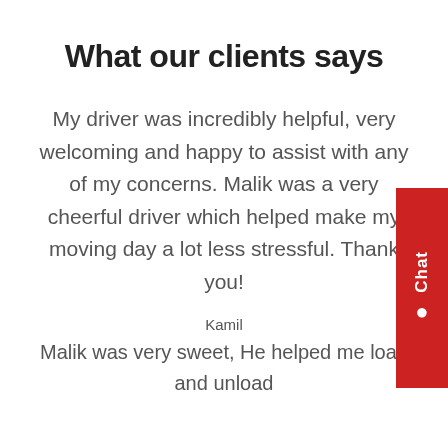What our clients says
My driver was incredibly helpful, very welcoming and happy to assist with any of my concerns. Malik was a very cheerful driver which helped make my moving day a lot less stressful. Thank you!
Kamil
Malik was very sweet, He helped me load and unload